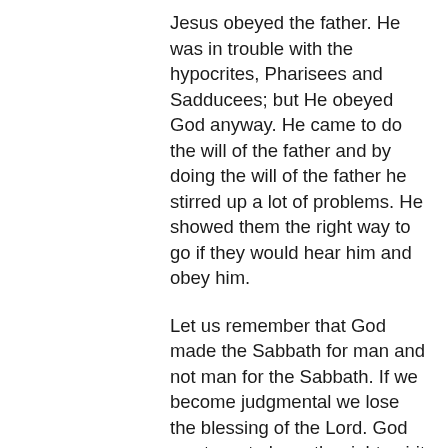Jesus obeyed the father. He was in trouble with the hypocrites, Pharisees and Sadducees; but He obeyed God anyway. He came to do the will of the father and by doing the will of the father he stirred up a lot of problems. He showed them the right way to go if they would hear him and obey him.
Let us remember that God made the Sabbath for man and not man for the Sabbath. If we become judgmental we lose the blessing of the Lord. God wants us to have the right spirit and a humble spirit before him and one another. Not accusing or blaming; but with the right spirit moving, in the things that God wants us to move in. In all things acknowledge him who is the head. This is the word of God tonight. In Jesus name. Amen.